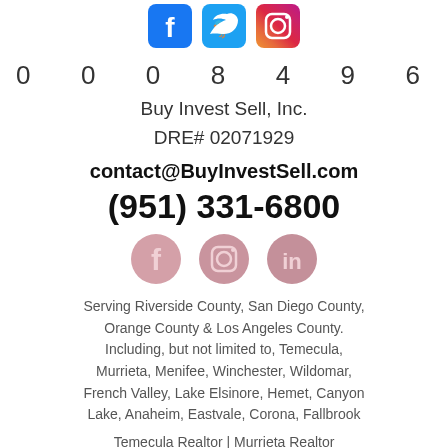[Figure (logo): Three social media icons at top: Facebook (blue rounded square), Twitter (blue bird rounded square), Instagram (pink/red gradient rounded square)]
0 0 0 8 4 9 6
Buy Invest Sell, Inc.
DRE# 02071929
contact@BuyInvestSell.com
(951) 331-6800
[Figure (logo): Three social media icons: Facebook, Instagram, LinkedIn — all in faded rose/pink tones]
Serving Riverside County, San Diego County, Orange County & Los Angeles County. Including, but not limited to, Temecula, Murrieta, Menifee, Winchester, Wildomar, French Valley, Lake Elsinore, Hemet, Canyon Lake, Anaheim, Eastvale, Corona, Fallbrook
Temecula Realtor | Murrieta Realtor